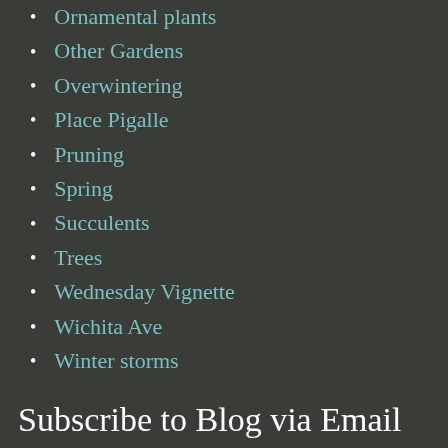Ornamental plants
Other Gardens
Overwintering
Place Pigalle
Pruning
Spring
Succulents
Trees
Wednesday Vignette
Wichita Ave
Winter storms
Subscribe to Blog via Email
Enter your email address to subscribe to this blog and receive notifications of new posts by email.